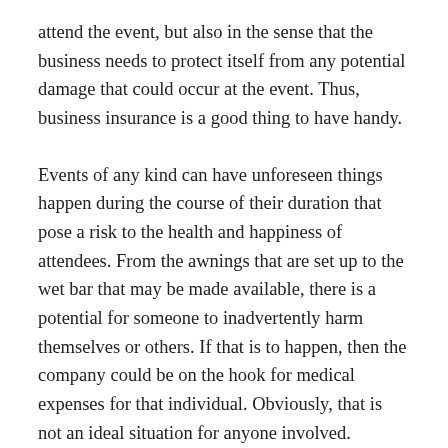attend the event, but also in the sense that the business needs to protect itself from any potential damage that could occur at the event. Thus, business insurance is a good thing to have handy.
Events of any kind can have unforeseen things happen during the course of their duration that pose a risk to the health and happiness of attendees. From the awnings that are set up to the wet bar that may be made available, there is a potential for someone to inadvertently harm themselves or others. If that is to happen, then the company could be on the hook for medical expenses for that individual. Obviously, that is not an ideal situation for anyone involved.
The person who got hurt in that situation is going to be upset that they were injured, but the